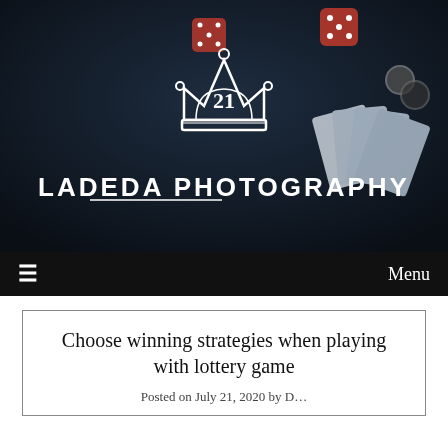[Figure (photo): Website header banner for Ladeda Photography showing a casino-themed background with red dice, playing cards, and poker chips in dark blue tones. A white crown logo with the number 21 is centered, with 'LADEDA PHOTOGRAPHY' in large white bold letters beneath it.]
≡    Menu
Choose winning strategies when playing with lottery game
Posted on July 21, 2020 by D...